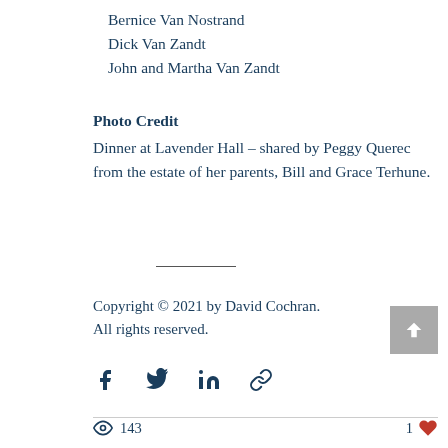Bernice Van Nostrand
Dick Van Zandt
John and Martha Van Zandt
Photo Credit
Dinner at Lavender Hall – shared by Peggy Querec from the estate of her parents, Bill and Grace Terhune.
Copyright © 2021 by David Cochran. All rights reserved.
143 views · 1 like